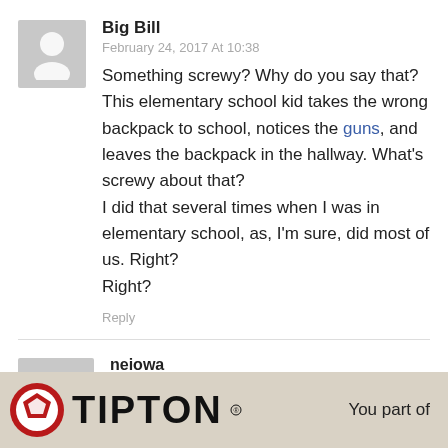Big Bill
February 24, 2017 At 10:38
Something screwy? Why do you say that? This elementary school kid takes the wrong backpack to school, notices the guns, and leaves the backpack in the hallway. What's screwy about that?
I did that several times when I was in elementary school, as, I'm sure, did most of us. Right?
Right?
Reply
neiowa
February 24, 2017 At 16:36
You part of
[Figure (logo): Tipton logo with circular red and white emblem and bold black TIPTON wordmark]